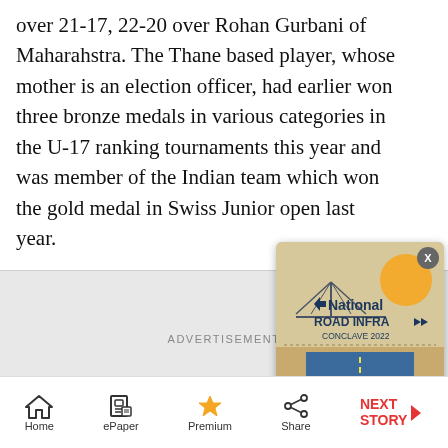over 21-17, 22-20 over Rohan Gurbani of Maharahstra. The Thane based player, whose mother is an election officer, had earlier won three bronze medals in various categories in the U-17 ranking tournaments this year and was member of the Indian team which won the gold medal in Swiss Junior open last year.
[Figure (other): Advertisement area with National Road Infra Conclave 2022 popup ad showing a bridge and road illustration]
Home   ePaper   Premium   Share   NEXT STORY